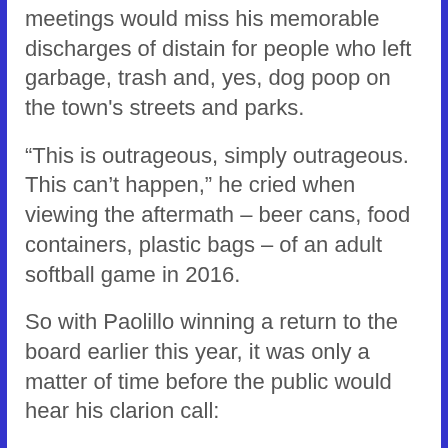meetings would miss his memorable discharges of distain for people who left garbage, trash and, yes, dog poop on the town's streets and parks.
“This is outrageous, simply outrageous. This can’t happen,” he cried when viewing the aftermath – beer cans, food containers, plastic bags – of an adult softball game in 2016.
So with Paolillo winning a return to the board earlier this year, it was only a matter of time before the public would hear his clarion call:
"Leonard Street is a mess!" Paolillo said at the Monday, Sept 20 board meeting, barely containing his disgust of anyone knowingly